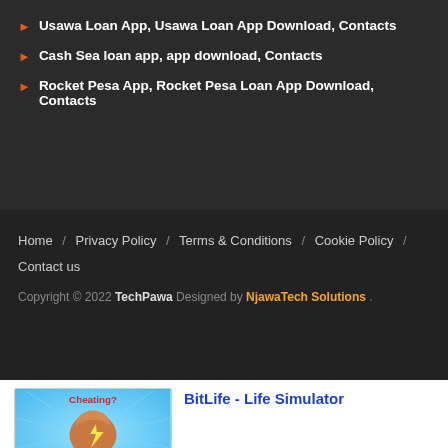Usawa Loan App, Usawa Loan App Download, Contacts
Cash Sea loan app, app download, Contacts
Rocket Pesa App, Rocket Pesa Loan App Download, Contacts
Home / Privacy Policy / Terms & Conditions / Cookie Policy / Contact us
Copyright © 2022 TechPawa Designed by NjawaTech Solutions .
[Figure (illustration): BitLife - Life Simulator ad banner showing a flexing arm emoji with the text 'Cheating? Or creative winning?' and 'BITLIFE Now with pro sports']
Ad